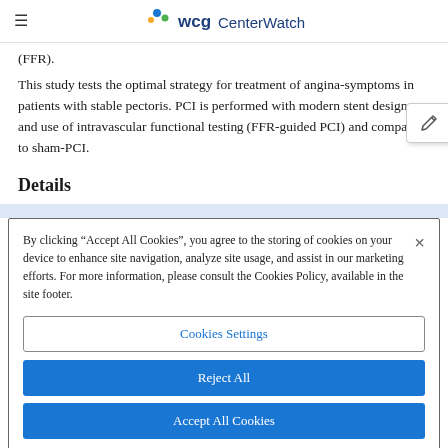WCG CenterWatch
(FFR).
This study tests the optimal strategy for treatment of angina-symptoms in patients with stable pectoris. PCI is performed with modern stent designs and use of intravascular functional testing (FFR-guided PCI) and compared to sham-PCI.
Details
By clicking “Accept All Cookies”, you agree to the storing of cookies on your device to enhance site navigation, analyze site usage, and assist in our marketing efforts. For more information, please consult the Cookies Policy, available in the site footer.
Cookies Settings
Reject All
Accept All Cookies